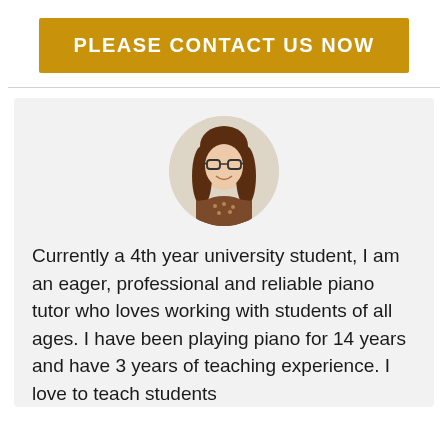PLEASE CONTACT US NOW
[Figure (photo): Circular profile photo of a young woman with long brown hair and glasses, smiling, wearing a patterned top]
Currently a 4th year university student, I am an eager, professional and reliable piano tutor who loves working with students of all ages. I have been playing piano for 14 years and have 3 years of teaching experience. I love to teach students